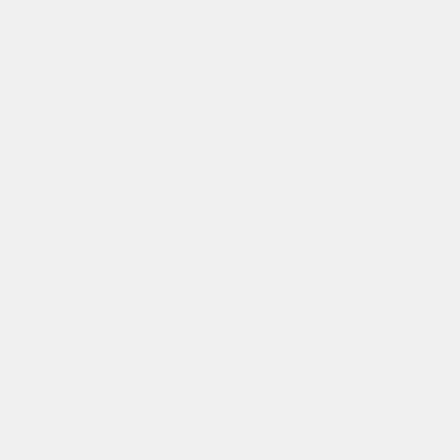fac Plu and CX The mo are act pov and con 400 500 mill of pov eac Wh you hav tho of the tho